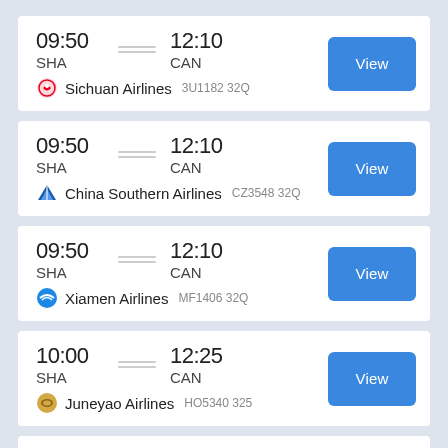09:50 SHA — 12:10 CAN | Sichuan Airlines 3U1182 32Q | View
09:50 SHA — 12:10 CAN | China Southern Airlines CZ3548 32Q | View
09:50 SHA — 12:10 CAN | Xiamen Airlines MF1406 32Q | View
10:00 SHA — 12:25 CAN | Juneyao Airlines HO5340 325 | View
10:00 SHA — 12:25 CAN | View